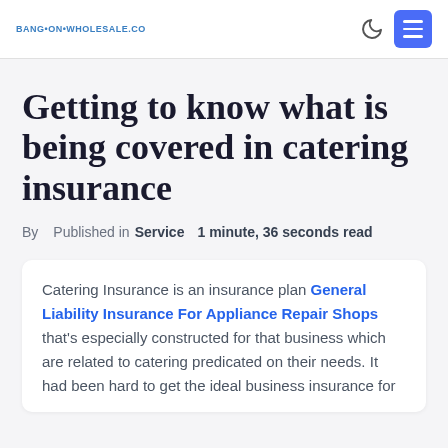BANG-ON-WHOLESALE.CO
Getting to know what is being covered in catering insurance
By  Published in Service  1 minute, 36 seconds read
Catering Insurance is an insurance plan General Liability Insurance For Appliance Repair Shops that's especially constructed for that business which are related to catering predicated on their needs. It had been hard to get the ideal business insurance for